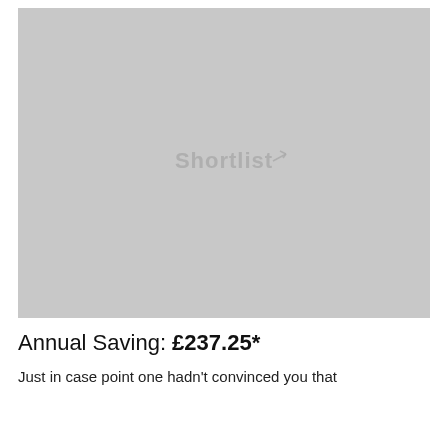[Figure (illustration): A geometric isometric cube/hexagon repeating pattern in light grey tones, with the watermark text 'Shortlist' overlaid in the centre.]
Annual Saving: £237.25*
Just in case point one hadn't convinced you that